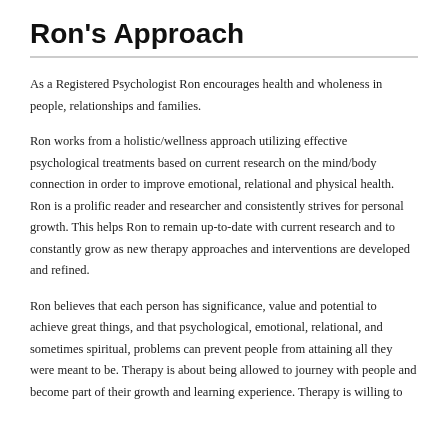Ron's Approach
As a Registered Psychologist Ron encourages health and wholeness in people, relationships and families.
Ron works from a holistic/wellness approach utilizing effective psychological treatments based on current research on the mind/body connection in order to improve emotional, relational and physical health. Ron is a prolific reader and researcher and consistently strives for personal growth. This helps Ron to remain up-to-date with current research and to constantly grow as new therapy approaches and interventions are developed and refined.
Ron believes that each person has significance, value and potential to achieve great things, and that psychological, emotional, relational, and sometimes spiritual, problems can prevent people from attaining all they were meant to be. Therapy is about being allowed to journey with people and become part of their growth and learning experience. Therapy is willing to...